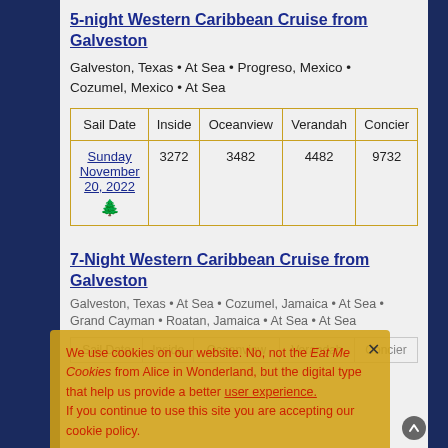5-night Western Caribbean Cruise from Galveston
Galveston, Texas • At Sea • Progreso, Mexico • Cozumel, Mexico • At Sea
| Sail Date | Inside | Oceanview | Verandah | Concier |
| --- | --- | --- | --- | --- |
| Sunday November 20, 2022 🌲 | 3272 | 3482 | 4482 | 9732 |
7-Night Western Caribbean Cruise from Galveston
Galveston, Texas • At Sea • Cozumel, Jamaica • At Sea • Grand Cayman • Roatan, Jamaica • At Sea • At Sea
| Sail Date | Inside | Oceanview | Verandah | Concier |
| --- | --- | --- | --- | --- |
We use cookies on our website. No, not the Eat Me Cookies from Alice in Wonderland, but the digital type that help us provide a better user experience. If you continue to use this site you are accepting our cookie policy.